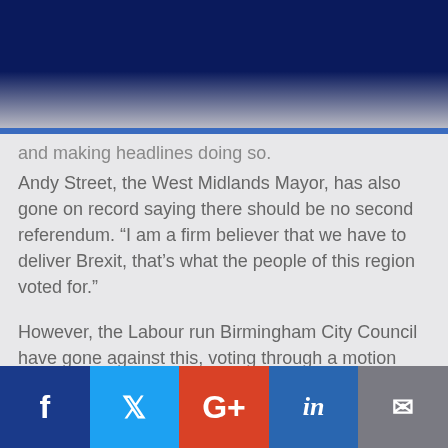rethink the scare
being spread around Brexit.
of working class people
and making headlines doing so.
Andy Street, the West Midlands Mayor, has also gone on record saying there should be no second referendum. “I am a firm believer that we have to deliver Brexit, that’s what the people of this region voted for.”
However, the Labour run Birmingham City Council have gone against this, voting through a motion supporting a second referendum, showing complete and utter contempt for working class people, while using condescending remarks like “people didn’t know what they voted for.”
f  Twitter  G+  in  Email